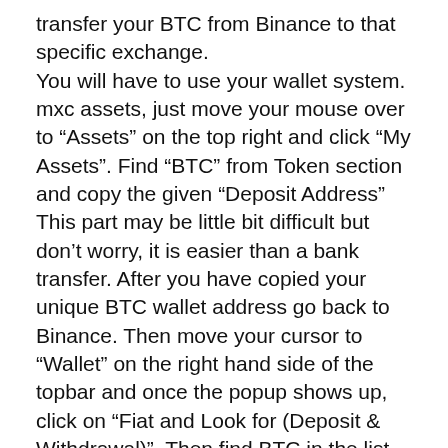transfer your BTC from Binance to that specific exchange.
You will have to use your wallet system. mxc assets, just move your mouse over to “Assets” on the top right and click “My Assets”. Find “BTC” from Token section and copy the given “Deposit Address”
This part may be little bit difficult but don’t worry, it is easier than a bank transfer. After you have copied your unique BTC wallet address go back to Binance. Then move your cursor to “Wallet” on the right hand side of the topbar and once the popup shows up, click on “Fiat and Look for (Deposit & Withdrawal)”. Then find BTC in the list and click on “Withdraw” on your right. Then, paste the deposit address you just copied from the other exchange and select BTC as